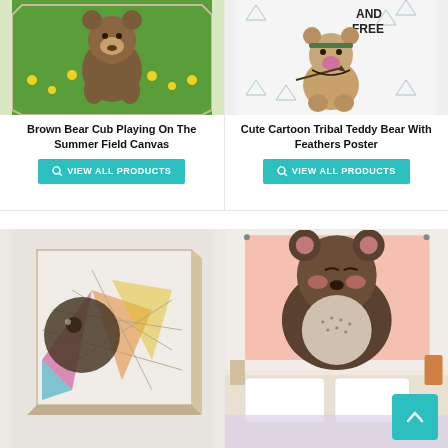[Figure (photo): Brown bear cub running in a green summer field with yellow flowers, displayed as a canvas print]
Brown Bear Cub Playing On The Summer Field Canvas
VIEW ALL PRODUCTS
[Figure (illustration): Cute cartoon tribal teddy bear with feathers and text AND FREE, displayed as a poster]
Cute Cartoon Tribal Teddy Bear With Feathers Poster
VIEW ALL PRODUCTS
[Figure (illustration): Geometric watercolor bear face canvas art with colorful polygon design]
[Figure (photo): Cute cartoon bear tapestry hanging on a bedroom wall, with pink background and polka dot belly bear design, with scroll-to-top button overlay]